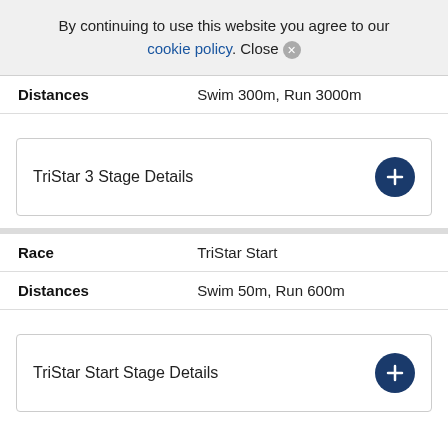By continuing to use this website you agree to our cookie policy. Close
| Distances | Swim 300m, Run 3000m |
TriStar 3 Stage Details
| Race | TriStar Start |
| Distances | Swim 50m, Run 600m |
TriStar Start Stage Details